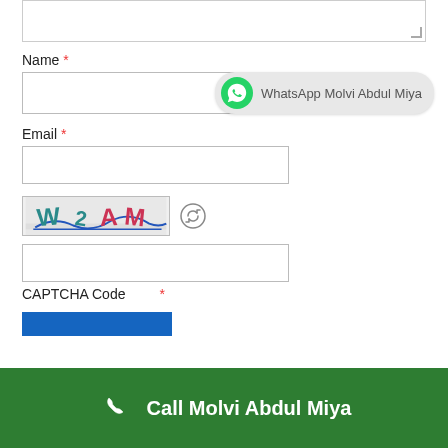[Figure (screenshot): Partial textarea input box at top of page (partially visible, showing bottom portion)]
Name *
[Figure (screenshot): Name input field with a WhatsApp bubble overlay showing green WhatsApp icon and text 'WhatsApp Molvi Abdul Miya' on grey pill background]
Email *
[Figure (screenshot): Email input text field]
[Figure (screenshot): CAPTCHA image showing distorted text 'W2 AM' in teal and pink colors with blue underline, with refresh icon to the right]
[Figure (screenshot): CAPTCHA code input text field]
CAPTCHA Code *
[Figure (screenshot): Blue submit button (partially visible)]
Call Molvi Abdul Miya